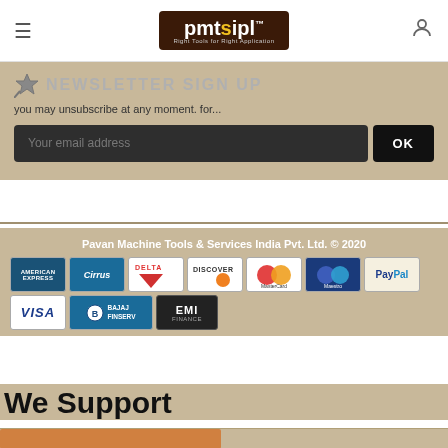pmtsipl — Right Tools for Right Application
NEWSLETTER SIGN UP
you may unsubscribe at any moment. for...
[Figure (screenshot): Email input field with placeholder 'Your email address' and OK button]
Pavan Machine Tools & Services India Pvt. Ltd. © 2020
[Figure (infographic): Payment method logos: American Express, Cirrus, Delta, Discover, MasterCard, Maestro, PayPal, VISA, Bajaj Finserv, EMI Finance]
We Support